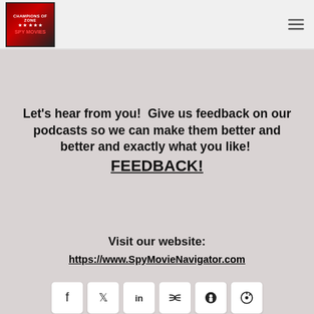Spy Movie Navigator - Header with logo and navigation
Let's hear from you!  Give us feedback on our podcasts so we can make them better and better and exactly what you like!  FEEDBACK!
Visit our website:
https://www.SpyMovieNavigator.com
[Figure (infographic): Social media sharing buttons: Facebook, Twitter, LinkedIn, RSS, Podbean, Apple Podcasts, Google Plus, Stitcher, Google, Google Podcasts, Spotify, YouTube, and one more icon in row 3]
All Episodes / THUNDERBALL - A Deep Dive - Part 2
THUNDERBALL - A Deep Dive - Part 2